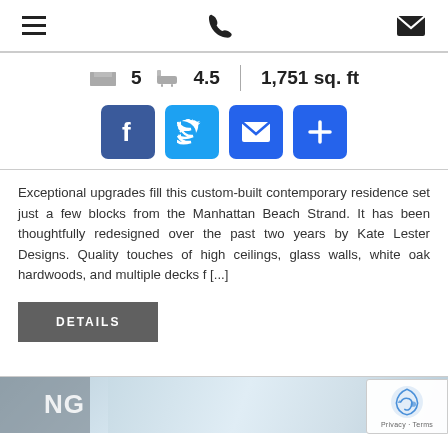Navigation bar with hamburger menu, phone icon, and email icon
5 bedrooms · 4.5 bathrooms · 1,751 sq. ft
[Figure (infographic): Social sharing buttons: Facebook, Twitter, Email, More (+)]
Exceptional upgrades fill this custom-built contemporary residence set just a few blocks from the Manhattan Beach Strand. It has been thoughtfully redesigned over the past two years by Kate Lester Designs. Quality touches of high ceilings, glass walls, white oak hardwoods, and multiple decks f [...]
DETAILS
[Figure (photo): Partial view of a modern building/house exterior with blue sky, with a grey tag overlay showing 'NG']
Privacy · Terms